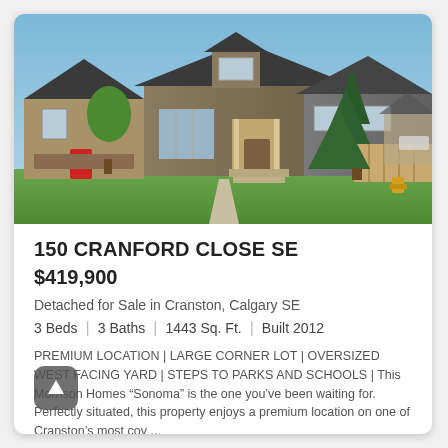[Figure (photo): Exterior photo of a two-storey detached home at 150 Cranford Close SE, Calgary. Brown and grey siding, large bay window, front porch with stairs, green lawn, large evergreen tree on right, neighbouring homes visible in background, clear blue sky.]
150 CRANFORD CLOSE SE
$419,900
Detached for Sale in Cranston, Calgary SE
3 Beds | 3 Baths | 1443 Sq. Ft. | Built 2012
PREMIUM LOCATION | LARGE CORNER LOT | OVERSIZED WEST FACING YARD | STEPS TO PARKS AND SCHOOLS | This Morrison Homes “Sonoma” is the one you’ve been waiting for. Perfectly situated, this property enjoys a premium location on one of Cranston’s most cov ...